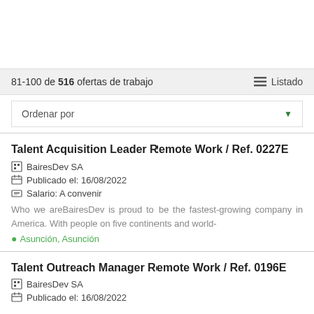81-100 de 516 ofertas de trabajo   Listado
Ordenar por
Talent Acquisition Leader Remote Work / Ref. 0227E
BairesDev SA
Publicado el: 16/08/2022
Salario: A convenir
Who we areBairesDev is proud to be the fastest-growing company in America. With people on five continents and world-
Asunción, Asunción
Talent Outreach Manager Remote Work / Ref. 0196E
BairesDev SA
Publicado el: 16/08/2022